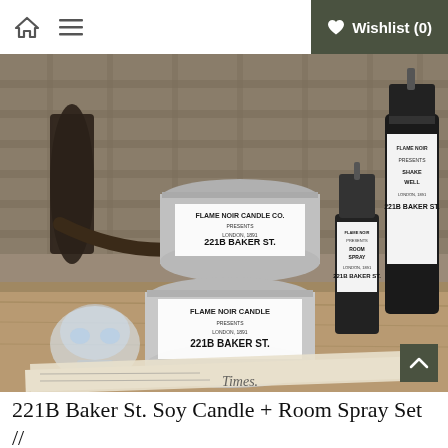🏠  ☰   ♥ Wishlist (0)
[Figure (photo): Product photo of Flame Noir Candle Co. 221B Baker St. soy candles in silver tins and room spray bottles with black labels, arranged on a wooden surface with a pipe, glass skull, and newspaper prop]
221B Baker St. Soy Candle + Room Spray Set //